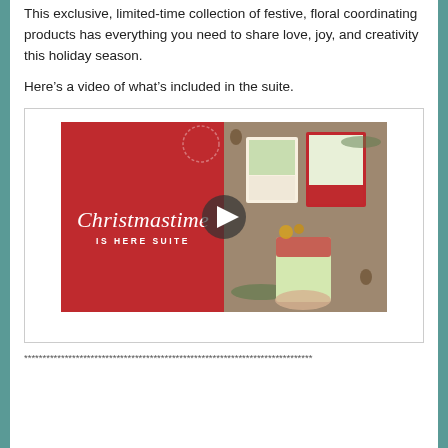This exclusive, limited-time collection of festive, floral coordinating products has everything you need to share love, joy, and creativity this holiday season.
Here's a video of what's included in the suite.
[Figure (screenshot): Video thumbnail for 'Christmastime Is Here Suite' showing a red panel on the left with cursive text 'Christmastime IS HERE SUITE' and on the right a flatlay of Christmas cards, gift bags, and holiday craft items on a wooden background. A play button is centered on the thumbnail.]
******************************************************************************